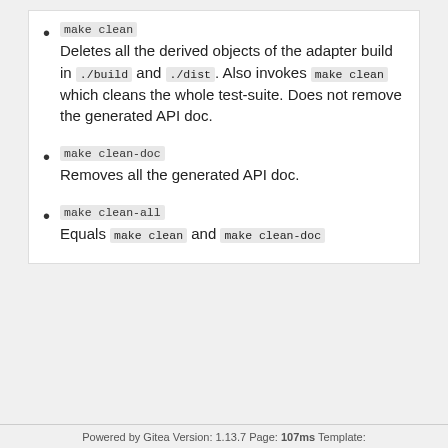make clean
Deletes all the derived objects of the adapter build in ./build and ./dist . Also invokes make clean which cleans the whole test-suite. Does not remove the generated API doc.
make clean-doc
Removes all the generated API doc.
make clean-all
Equals make clean and make clean-doc
Powered by Gitea Version: 1.13.7 Page: 107ms Template: